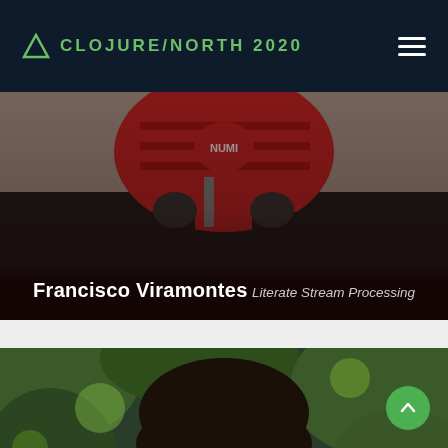CLOJURE/NORTH 2020
Francisco Viramontes
Literate Stream Processing
[Figure (photo): Close-up portrait photo of Francisco Viramontes, a man with dark hair, appearing outdoors with green foliage in the background]